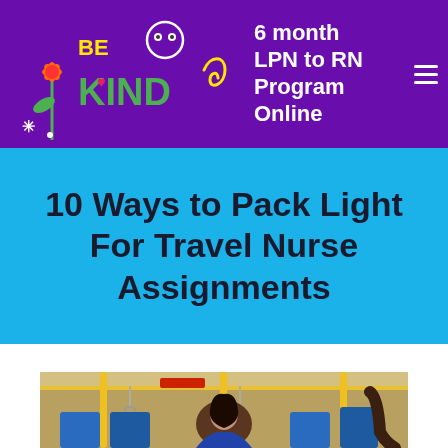6 month LPN to RN Program Online
10 Ways to Pack Light For Travel Nurse Assignments
[Figure (photo): Woman sitting on a bus, interior view with yellow handrails and overhead bars, bus seats visible in background]